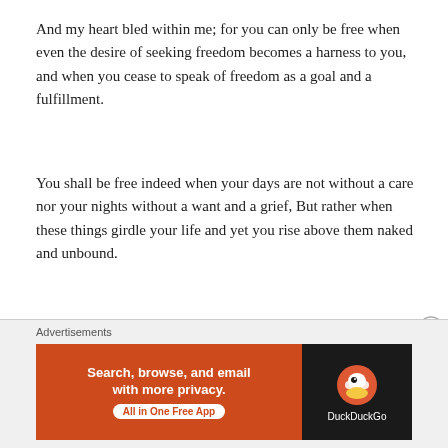And my heart bled within me; for you can only be free when even the desire of seeking freedom becomes a harness to you, and when you cease to speak of freedom as a goal and a fulfillment.
You shall be free indeed when your days are not without a care nor your nights without a want and a grief, But rather when these things girdle your life and yet you rise above them naked and unbound.
And how shall you rise beyond your days and nights unless you break the chains which you at the dawn of your understanding have fastened around your noon hour?
[Figure (infographic): DuckDuckGo advertisement banner: orange background with text 'Search, browse, and email with more privacy. All in One Free App' and DuckDuckGo logo on dark background on the right side.]